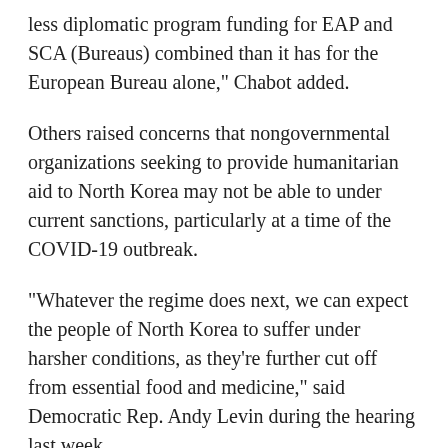less diplomatic program funding for EAP and SCA (Bureaus) combined than it has for the European Bureau alone," Chabot added.
Others raised concerns that nongovernmental organizations seeking to provide humanitarian aid to North Korea may not be able to under current sanctions, particularly at a time of the COVID-19 outbreak.
"Whatever the regime does next, we can expect the people of North Korea to suffer under harsher conditions, as they're further cut off from essential food and medicine," said Democratic Rep. Andy Levin during the hearing last week.
Former U.S. officials and some experts noted that North Korea didn't foster concerns in their Biden's priority...